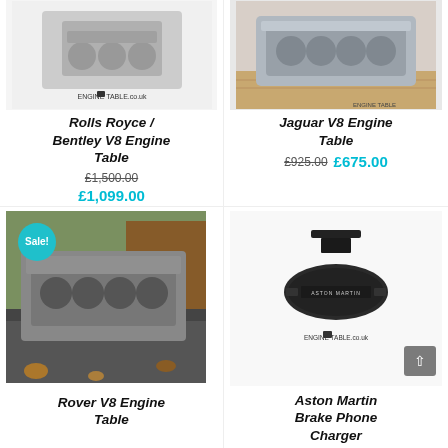[Figure (photo): Rolls Royce / Bentley V8 Engine Table product image with Engine Table logo watermark]
Rolls Royce / Bentley V8 Engine Table
£1,500.00  £1,099.00
[Figure (photo): Jaguar V8 Engine block converted to table, silver metallic finish on wooden floor with Engine Table logo]
Jaguar V8 Engine Table
£925.00  £675.00
[Figure (photo): Rover V8 Engine block table outdoors in garden with Sale! badge in teal circle]
Rover V8 Engine Table
[Figure (photo): Aston Martin Brake Phone Charger product image with Engine Table logo, black device]
Aston Martin Brake Phone Charger